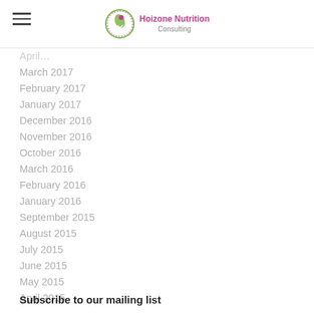Hoizone Nutrition Consulting
March 2017
February 2017
January 2017
December 2016
November 2016
October 2016
March 2016
February 2016
January 2016
September 2015
August 2015
July 2015
June 2015
May 2015
April 2015
Subscribe to our mailing list